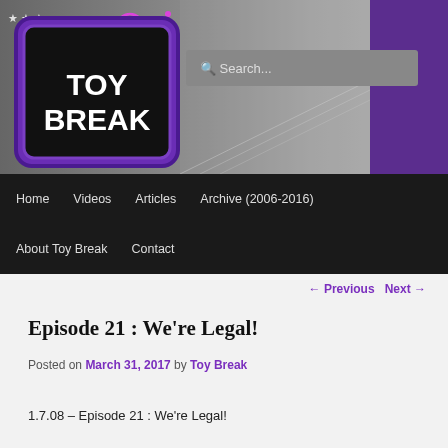[Figure (illustration): Toy Break website header banner with logo showing 'TOY BREAK' text in white on black rounded rectangle with purple border, antenna graphic, stars in top left, cityscape/studio background in grayscale, purple bar on right, and a search box overlay]
[Figure (screenshot): Navigation bar with black background containing menu items: Home, Videos, Articles, Archive (2006-2016) on first row; About Toy Break, Contact on second row]
← Previous   Next →
Episode 21 : We're Legal!
Posted on March 31, 2017 by Toy Break
1.7.08 – Episode 21 : We're Legal!